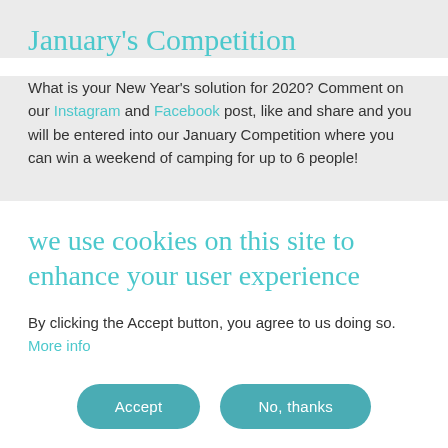January's Competition
What is your New Year's solution for 2020? Comment on our Instagram and Facebook post, like and share and you will be entered into our January Competition where you can win a weekend of camping for up to 6 people!
we use cookies on this site to enhance your user experience
By clicking the Accept button, you agree to us doing so. More info